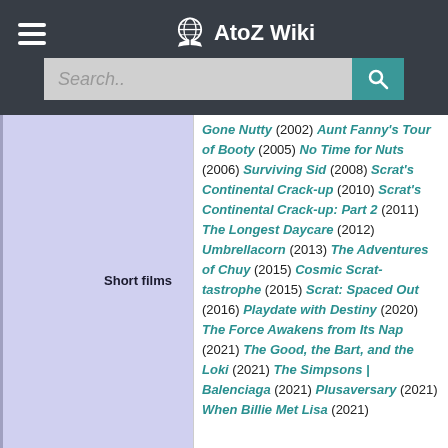AtoZ Wiki
Gone Nutty (2002) Aunt Fanny's Tour of Booty (2005) No Time for Nuts (2006) Surviving Sid (2008) Scrat's Continental Crack-up (2010) Scrat's Continental Crack-up: Part 2 (2011) The Longest Daycare (2012) Umbrellacorn (2013) The Adventures of Chuy (2015) Cosmic Scrat-tastrophe (2015) Scrat: Spaced Out (2016) Playdate with Destiny (2020) The Force Awakens from Its Nap (2021) The Good, the Bart, and the Loki (2021) The Simpsons | Balenciaga (2021) Plusaversary (2021) When Billie Met Lisa (2021)